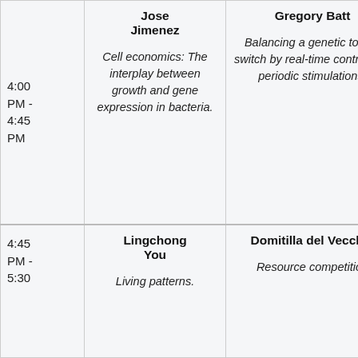| Time | Speaker 1 | Speaker 2 |
| --- | --- | --- |
| 4:00 PM - 4:45 PM | Jose Jimenez
Cell economics: The interplay between growth and gene expression in bacteria. | Gregory Batt
Balancing a genetic toggle switch by real-time control and periodic stimulations. |
| 4:45 PM - 5:30 | Lingchong You
Living patterns. | Domitilla del Vecchio
Resource competition |